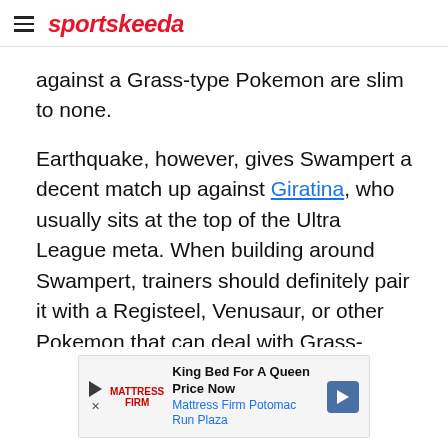sportskeeda
against a Grass-type Pokemon are slim to none.
Earthquake, however, gives Swampert a decent match up against Giratina, who usually sits at the top of the Ultra League meta. When building around Swampert, trainers should definitely pair it with a Registeel, Venusaur, or other Pokemon that can deal with Grass-types, as well as Fairies.
[Figure (other): Advertisement banner for Mattress Firm Potomac Run Plaza: King Bed For A Queen Price Now]